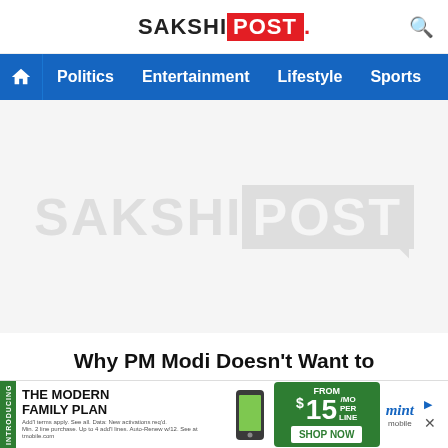SAKSHI POST
Politics  Entertainment  Lifestyle  Sports  Video
[Figure (logo): SakshiPost watermark logo placeholder image in light grey on white background]
Why PM Modi Doesn't Want to Appreciate Telangana, Asks TRS
[Figure (other): Advertisement banner: The Modern Family Plan from $15/MO per line, Shop Now, mint mobile]